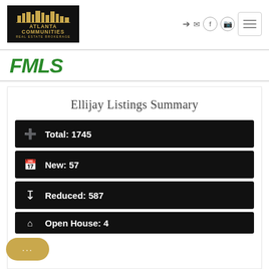[Figure (logo): Atlanta Communities Real Estate Brokerage logo – dark background with gold city skyline and text]
Ellijay Listings Summary
Total: 1745
New: 57
Reduced: 587
Open House: 4